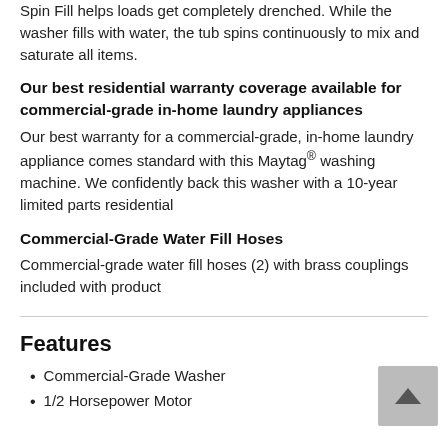Spin Fill helps loads get completely drenched. While the washer fills with water, the tub spins continuously to mix and saturate all items.
Our best residential warranty coverage available for commercial-grade in-home laundry appliances
Our best warranty for a commercial-grade, in-home laundry appliance comes standard with this Maytag® washing machine. We confidently back this washer with a 10-year limited parts residential
Commercial-Grade Water Fill Hoses
Commercial-grade water fill hoses (2) with brass couplings included with product
Features
Commercial-Grade Washer
1/2 Horsepower Motor